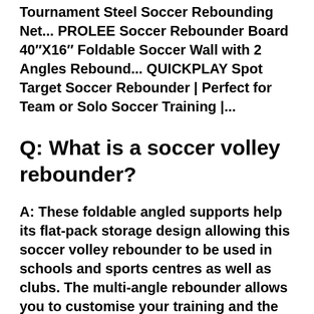Tournament Steel Soccer Rebounding Net... PROLEE Soccer Rebounder Board 40″X16″ Foldable Soccer Wall with 2 Angles Rebound... QUICKPLAY Spot Target Soccer Rebounder | Perfect for Team or Solo Soccer Training |...
Q: What is a soccer volley rebounder?
A: These foldable angled supports help its flat-pack storage design allowing this soccer volley rebounder to be used in schools and sports centres as well as clubs. The multi-angle rebounder allows you to customise your training and the type of rebound you receive.